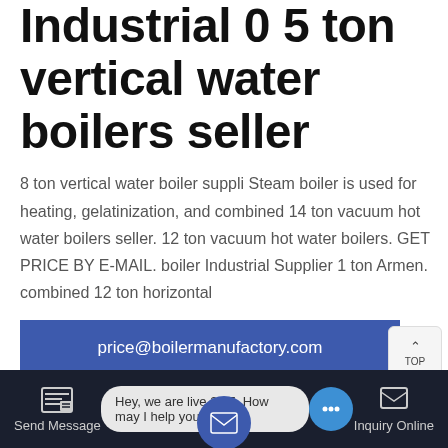Industrial 0 5 ton vertical water boilers seller
8 ton vertical water boiler suppli Steam boiler is used for heating, gelatinization, and combined 14 ton vacuum hot water boilers seller. 12 ton vacuum hot water boilers. GET PRICE BY E-MAIL. boiler Industrial Supplier 1 ton Armen. combined 12 ton horizontal
price@boilermanufactory.com
GET A QUOTE
Hey, we are live 24/7. How may I help you?
Send Message
Inquiry Online